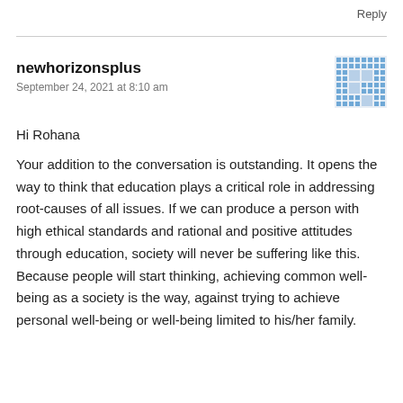Reply
newhorizonsplus
September 24, 2021 at 8:10 am
[Figure (illustration): Decorative avatar icon with a blue geometric/cross pattern on a white background]
Hi Rohana
Your addition to the conversation is outstanding. It opens the way to think that education plays a critical role in addressing root-causes of all issues. If we can produce a person with high ethical standards and rational and positive attitudes through education, society will never be suffering like this. Because people will start thinking, achieving common well-being as a society is the way, against trying to achieve personal well-being or well-being limited to his/her family.